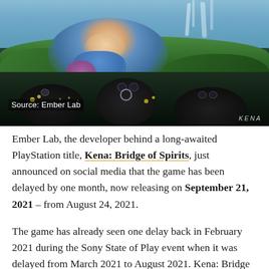[Figure (photo): Screenshot from Kena: Bridge of Spirits showing a girl character crouching over dark creature figures (Rot) in a lush green environment with waterfall in background. Source watermark reads 'Source: Ember Lab' at bottom left, 'KENA' watermark at bottom right.]
Source: Ember Lab
Ember Lab, the developer behind a long-awaited PlayStation title, Kena: Bridge of Spirits, just announced on social media that the game has been delayed by one month, now releasing on September 21, 2021 – from August 24, 2021.
The game has already seen one delay back in February 2021 during the Sony State of Play event when it was delayed from March 2021 to August 2021. Kena: Bridge of Spirits was originally revealed during the PlayStation 5